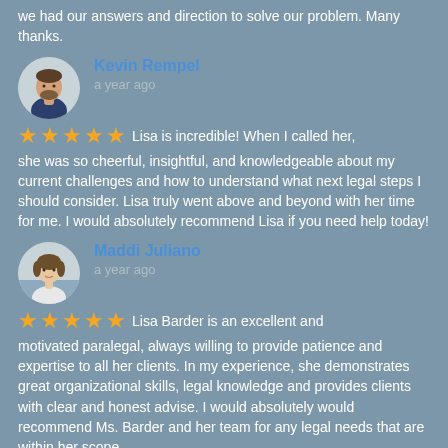we had our answers and direction to solve our problem. Many thanks.
Kevin Rempel
a year ago
★★★★★ Lisa is incredible! When I called her, she was so cheerful, insightful, and knowledgeable about my current challenges and how to understand what next legal steps I should consider. Lisa truly went above and beyond with her time for me. I would absolutely recommend Lisa if you need help today!
Maddi Juliano
a year ago
★★★★★ Lisa Barder is an excellent and motivated paralegal, always willing to provide patience and expertise to all her clients. In my experience, she demonstrates great organizational skills, legal knowledge and provides clients with clear and honest advise. I would absolutely would recommend Ms. Barder and her team for any legal needs that are within her scope.
Bin Sun